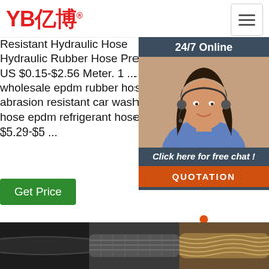[Figure (logo): YB億博 logo in red with registered trademark symbol]
[Figure (illustration): Hamburger menu icon (three horizontal lines) in a bordered square]
Resistant Hydraulic Hose Hydraulic Rubber Hose Pressure. US $0.15-$2.56 Meter. 1 ... wholesale epdm rubber hose abrasion resistant car washer hose epdm refrigerant hose. US $5.29-$5 ...
[Figure (illustration): Green Get Price button - column 1]
Washing Hose - Hebei Dayi Rubber Products Co., Ltd.
[Figure (illustration): Green Get Price button - column 2]
Hydraulic Hose Car Pressure Hose from
[Figure (illustration): Green G... button - column 3 (partially visible)]
[Figure (photo): 24/7 Online chat widget with customer service woman wearing headset, dark grey background, 'Click here for free chat!' text and orange QUOTATION button]
[Figure (illustration): TOP icon with orange dots arranged in triangle above orange TOP text]
[Figure (photo): Bottom row of three hydraulic hose product images - dark, wire braided, and golden braided hoses]